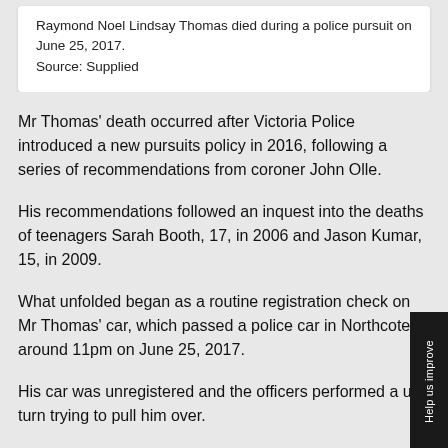Raymond Noel Lindsay Thomas died during a police pursuit on June 25, 2017.
Source: Supplied
Mr Thomas' death occurred after Victoria Police introduced a new pursuits policy in 2016, following a series of recommendations from coroner John Olle.
His recommendations followed an inquest into the deaths of teenagers Sarah Booth, 17, in 2006 and Jason Kumar, 15, in 2009.
What unfolded began as a routine registration check on Mr Thomas' car, which passed a police car in Northcote around 11pm on June 25, 2017.
His car was unregistered and the officers performed a u-turn trying to pull him over.
"What started with a brief encounter quickly became a high-speed police pursuit, with the police vehicle reaching